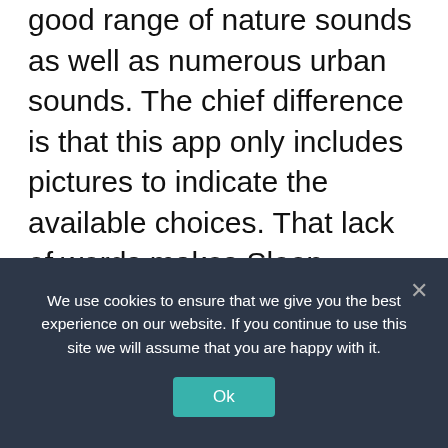good range of nature sounds as well as numerous urban sounds. The chief difference is that this app only includes pictures to indicate the available choices. That lack of words makes Sleep Sounds suitable for use by young children.
The app's sound effects are good, if not as detailed and immersive as Rain Rain. Sleep Sounds allows for just two sounds to be mixed together, and there is no facility to save or share the results. Sleep Sounds is cheaper to subscribe to than Bettersleep and
We use cookies to ensure that we give you the best experience on our website. If you continue to use this site we will assume that you are happy with it.